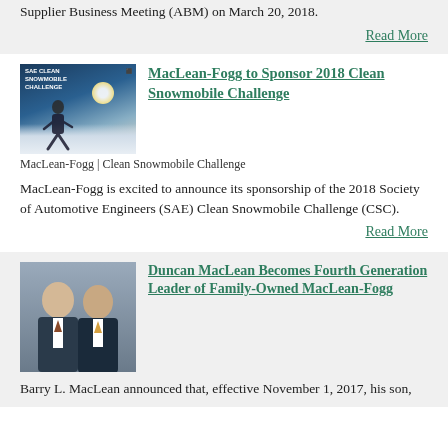Supplier Business Meeting (ABM) on March 20, 2018.
Read More
[Figure (photo): MacLean-Fogg Clean Snowmobile Challenge promotional image showing snowmobile rider against a bright sun and snow-covered hills]
MacLean-Fogg | Clean Snowmobile Challenge
MacLean-Fogg to Sponsor 2018 Clean Snowmobile Challenge
MacLean-Fogg is excited to announce its sponsorship of the 2018 Society of Automotive Engineers (SAE) Clean Snowmobile Challenge (CSC).
Read More
[Figure (photo): Portrait photo of two men in business suits, presumably Barry L. MacLean and Duncan MacLean]
Duncan MacLean Becomes Fourth Generation Leader of Family-Owned MacLean-Fogg
Barry L. MacLean announced that, effective November 1, 2017, his son,